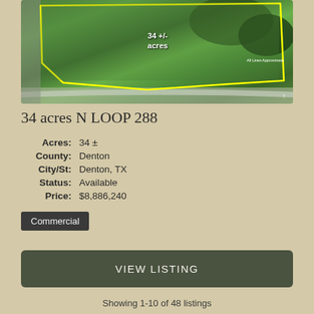[Figure (photo): Aerial view of 34 acres property near N Loop 288 in Denton, TX. Yellow boundary lines outline the property perimeter. Text overlay reads '34 +/- acres' and 'All Lines Approximate'.]
34 acres N LOOP 288
| Acres: | 34 ± |
| County: | Denton |
| City/St: | Denton, TX |
| Status: | Available |
| Price: | $8,886,240 |
Commercial
VIEW LISTING
Showing 1-10 of 48 listings